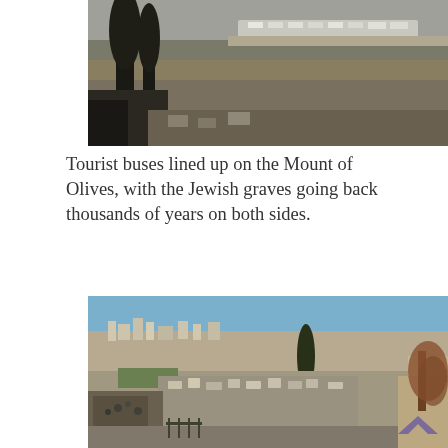[Figure (photo): Landscape photo showing tourist buses lined up on a road on the Mount of Olives, with barren hillside terrain, cypress trees in the foreground, and a rocky hillside in the background.]
Tourist buses lined up on the Mount of Olives, with the Jewish graves going back thousands of years on both sides.
[Figure (photo): Photo of the Jewish cemetery on the Mount of Olives showing densely packed stone grave markers, large rock formations in the foreground, trees, and a hillside with buildings under a clear blue sky in the background. A purple chevron/arrow watermark is visible in the lower right.]